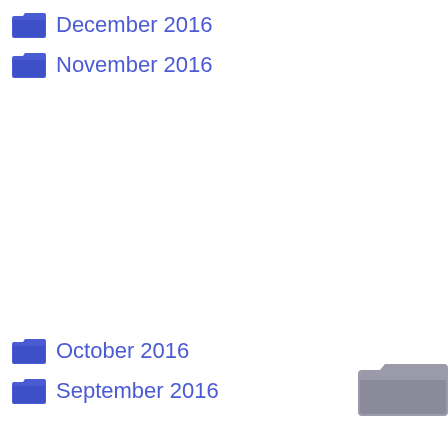December 2016
November 2016
October 2016
September 2016